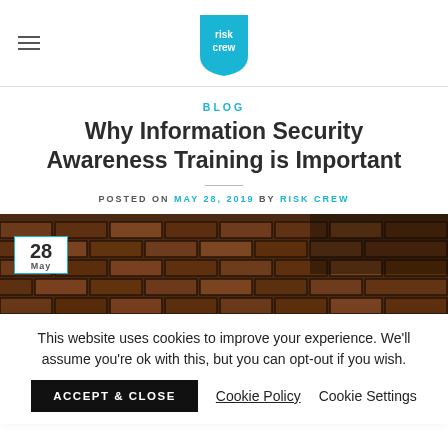Risk Crew logo and navigation
BLOG
Why Information Security Awareness Training is Important
POSTED ON MAY 28, 2019 BY RISK CREW
[Figure (photo): Brick wall background with a date badge showing 28 May in the bottom-left corner]
This website uses cookies to improve your experience. We'll assume you're ok with this, but you can opt-out if you wish.
ACCEPT & CLOSE   Cookie Policy   Cookie Settings